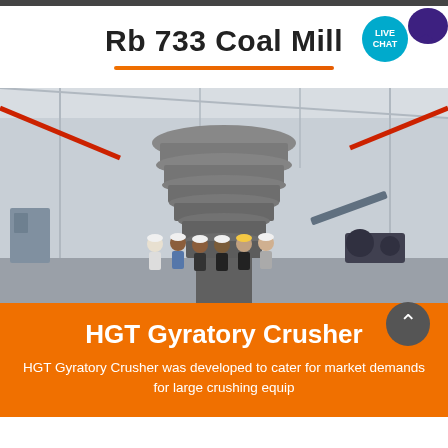Rb 733 Coal Mill
[Figure (photo): Industrial photo of a large gyratory crusher machine in a factory/warehouse setting, with a group of workers wearing hard hats standing in front of the massive machine.]
HGT Gyratory Crusher
HGT Gyratory Crusher was developed to cater for market demands for large crushing equip